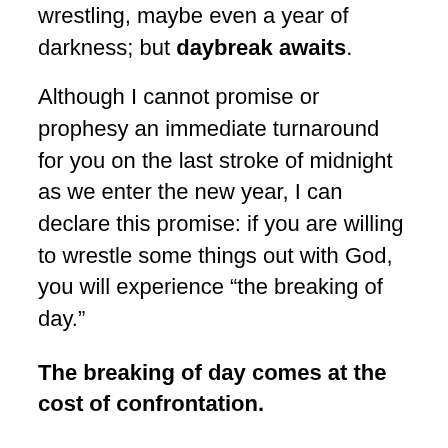wrestling, maybe even a year of darkness; but daybreak awaits.
Although I cannot promise or prophesy an immediate turnaround for you on the last stroke of midnight as we enter the new year, I can declare this promise: if you are willing to wrestle some things out with God, you will experience “the breaking of day.”
The breaking of day comes at the cost of confrontation.
Jacob had to face the fears and sins of his past in order to be set free to his future. Are you willing to allow God to take you back to unhealed, unhealthy areas of your life? It is there that we must face two enemies: shame and condemnation. God wants to break their strongholds on your life, but you must be willing to confront them.